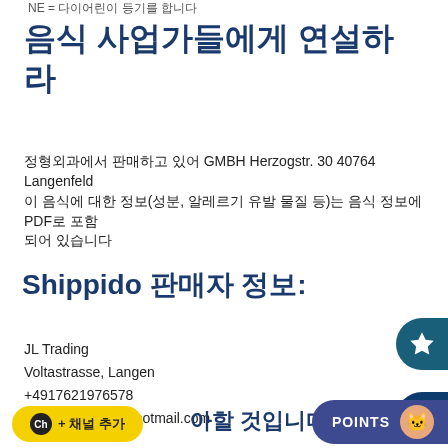NE = 다이어린이 등기를 합니다
음식 사업가들에게 연설하라
정형외과에서 판매하고 있어 GMBH Herzogstr. 30 40764 Langenfeld
이 음식에 대한 정보(성분, 알레르기 유발 물질 등)는 음식 정보에 PDF로 포함되어 있습니다
Shippido 판매자 정보:
JL Trading
Voltastrasse, Langen
+4917621976578
moonyoungb64@hotmail.com
아할 것입니다.